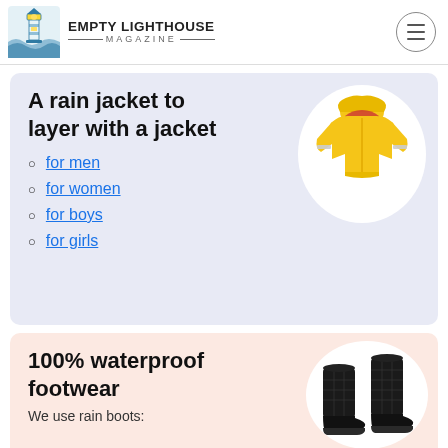EMPTY LIGHTHOUSE MAGAZINE
A rain jacket to layer with a jacket
for men
for women
for boys
for girls
[Figure (photo): Yellow children's rain jacket with reflective strips and red hood lining, shown on white oval background]
100% waterproof footwear
We use rain boots:
[Figure (photo): Black quilted rubber rain boots, shown on white oval background]